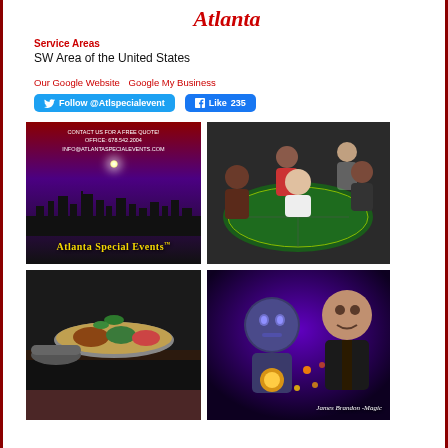Atlanta
Service Areas
SW Area of the United States
Our Google Website   Google My Business
Follow @Atlspecialevent   Like 235
[Figure (photo): Atlanta Special Events logo with city skyline silhouette on purple/red gradient background. Text reads: CONTACT US FOR A FREE QUOTE! OFFICE: 678.542.2004 INFO@ATLANTASPECIALEVENTS.COM. Atlanta Special Events brand name in gold.]
[Figure (photo): People gathered around a casino/roulette table at an event.]
[Figure (photo): Catering food display with various dishes on a buffet table with black cloth.]
[Figure (photo): James Brandon Magic - magician promo photo with futuristic/sci-fi theme, text reads James Brandon -Magic]